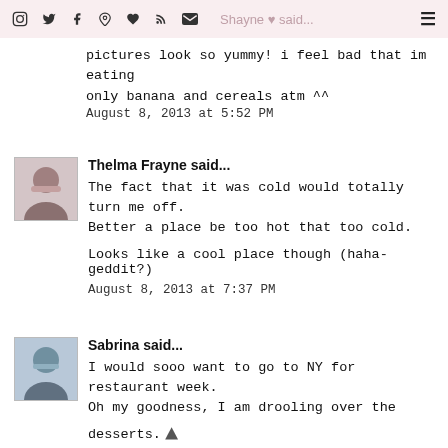Shayne ♥ said...
pictures look so yummy! i feel bad that im eating only banana and cereals atm ^^
August 8, 2013 at 5:52 PM
Thelma Frayne said...
The fact that it was cold would totally turn me off. Better a place be too hot that too cold.

Looks like a cool place though (haha-geddit?)
August 8, 2013 at 7:37 PM
Sabrina said...
I would sooo want to go to NY for restaurant week. Oh my goodness, I am drooling over the desserts.

Sincerely,
Sabrina